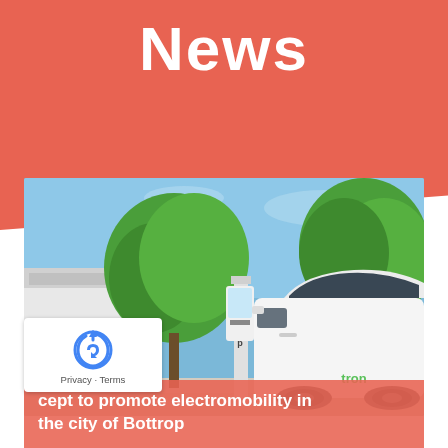News
[Figure (photo): Outdoor photo showing a white electric vehicle next to a charging station, with green trees and a blue sky in the background. A white van is visible on the left.]
cept to promote electromobility in the city of Bottrop